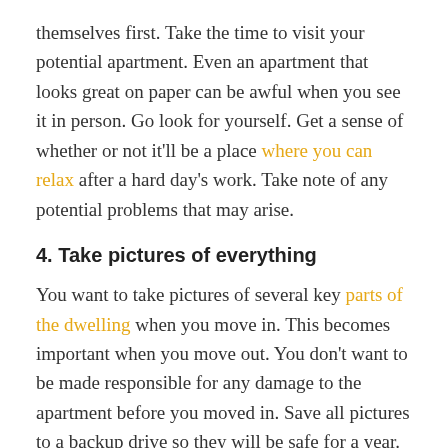themselves first. Take the time to visit your potential apartment. Even an apartment that looks great on paper can be awful when you see it in person. Go look for yourself. Get a sense of whether or not it'll be a place where you can relax after a hard day's work. Take note of any potential problems that may arise.
4. Take pictures of everything
You want to take pictures of several key parts of the dwelling when you move in. This becomes important when you move out. You don't want to be made responsible for any damage to the apartment before you moved in. Save all pictures to a backup drive so they will be safe for a year. When you move in, you will have the option to